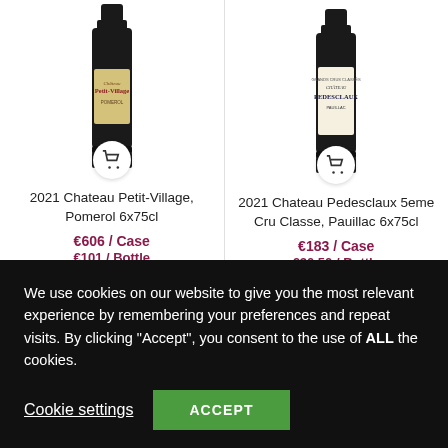[Figure (photo): Wine bottle image - 2021 Chateau Petit-Village Pomerol with shopping cart icon]
[Figure (photo): Wine bottle image - 2021 Chateau Pedesclaux 5eme Cru Classe Pauillac with shopping cart icon]
2021 Chateau Petit-Village, Pomerol 6x75cl
€606 / Case
€101 / Bottle
Duty Status: In Bond
2021 Chateau Pedesclaux 5eme Cru Classe, Pauillac 6x75cl
€183 / Case
€30.50 / Bottle
We use cookies on our website to give you the most relevant experience by remembering your preferences and repeat visits. By clicking "Accept", you consent to the use of ALL the cookies.
Cookie settings
ACCEPT